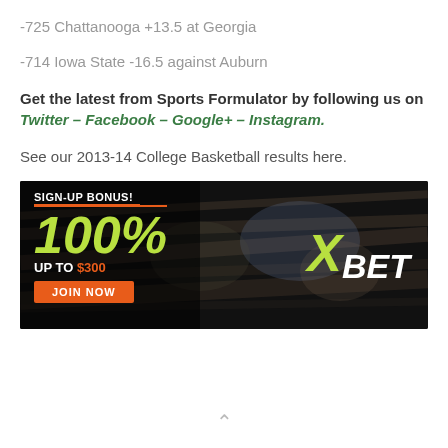-725 Chattanooga +13.5 at Georgia
-714 Iowa State -16.5 against Auburn
Get the latest from Sports Formulator by following us on Twitter – Facebook – Google+ – Instagram.
See our 2013-14 College Basketball results here.
[Figure (infographic): XBet advertisement banner: Sign-up Bonus! 100% UP TO $300. JOIN NOW button. XBet logo on right side. Dark blurred sports photography background.]